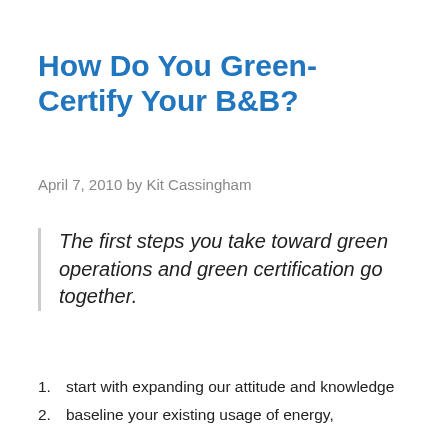How Do You Green-Certify Your B&B?
April 7, 2010 by Kit Cassingham
The first steps you take toward green operations and green certification go together.
start with expanding our attitude and knowledge
baseline your existing usage of energy,